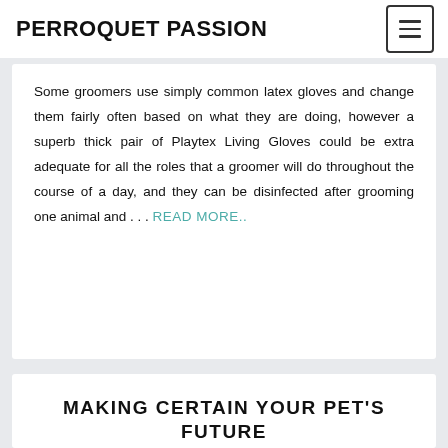PERROQUET PASSION
Some groomers use simply common latex gloves and change them fairly often based on what they are doing, however a superb thick pair of Playtex Living Gloves could be extra adequate for all the roles that a groomer will do throughout the course of a day, and they can be disinfected after grooming one animal and . . . READ MORE..
MAKING CERTAIN YOUR PET'S FUTURE
March 5, 2022  Margarita